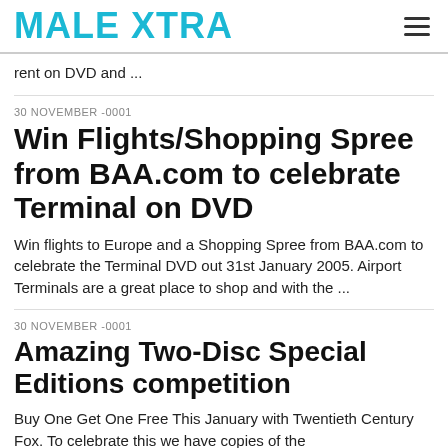MALE XTRA
rent on DVD and ...
30 NOVEMBER -0001
Win Flights/Shopping Spree from BAA.com to celebrate Terminal on DVD
Win flights to Europe and a Shopping Spree from BAA.com to celebrate the Terminal DVD out 31st January 2005. Airport Terminals are a great place to shop and with the ...
30 NOVEMBER -0001
Amazing Two-Disc Special Editions competition
Buy One Get One Free This January with Twentieth Century Fox. To celebrate this we have copies of the